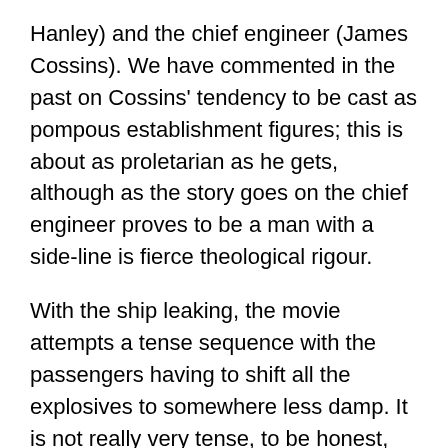Hanley) and the chief engineer (James Cossins). We have commented in the past on Cossins' tendency to be cast as pompous establishment figures; this is about as proletarian as he gets, although as the story goes on the chief engineer proves to be a man with a side-line is fierce theological rigour.
With the ship leaking, the movie attempts a tense sequence with the passengers having to shift all the explosives to somewhere less damp. It is not really very tense, to be honest, and concludes with Lansen deciding they have to abandon ship anyway. So everyone piles into a lifeboat, which is launched into something which is very obviously a medium-sized water tank.
Some occasional rowing ('It'll keep you fit!' growls the captain) and arguing over the rations ensues, with